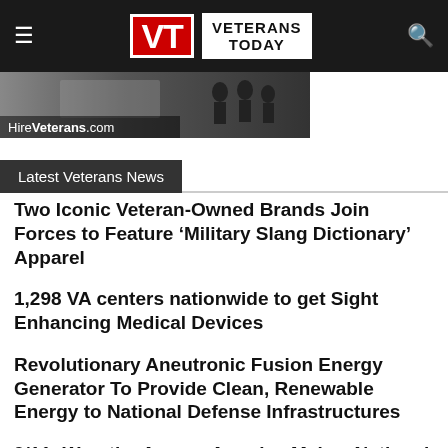Veterans Today
[Figure (photo): HireVeterans.com banner image showing military personnel]
Latest Veterans News
Two Iconic Veteran-Owned Brands Join Forces to Feature ‘Military Slang Dictionary’ Apparel
1,298 VA centers nationwide to get Sight Enhancing Medical Devices
Revolutionary Aneutronic Fusion Energy Generator To Provide Clean, Renewable Energy to National Defense Infrastructures
9/11: Wreaths Across America Makes National Call to Stand Out and Wave Flags to Remember